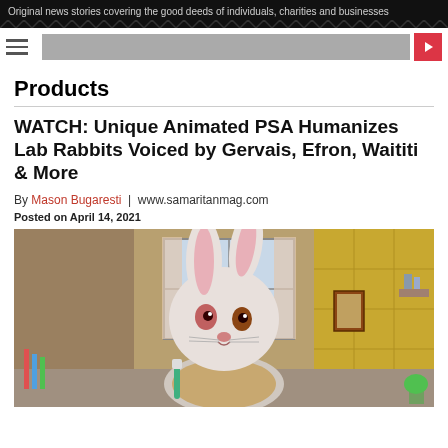Original news stories covering the good deeds of individuals, charities and businesses
Products
WATCH: Unique Animated PSA Humanizes Lab Rabbits Voiced by Gervais, Efron, Waititi & More
By Mason Bugaresti | www.samaritanmag.com
Posted on April 14, 2021
[Figure (photo): An animated or costumed rabbit character dressed in a button-up shirt, holding a toothbrush, standing in a bathroom setting with yellow tiles, curtains, and household items visible in the background.]